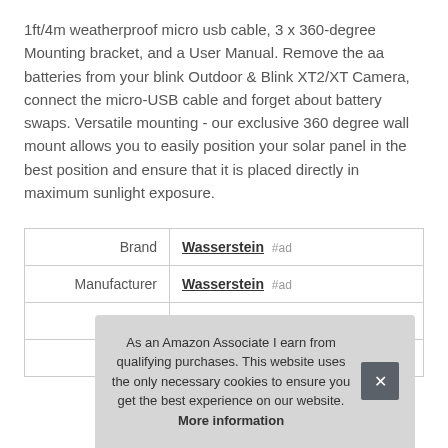1ft/4m weatherproof micro usb cable, 3 x 360-degree Mounting bracket, and a User Manual. Remove the aa batteries from your blink Outdoor & Blink XT2/XT Camera, connect the micro-USB cable and forget about battery swaps. Versatile mounting - our exclusive 360 degree wall mount allows you to easily position your solar panel in the best position and ensure that it is placed directly in maximum sunlight exposure.
|  |  |
| --- | --- |
| Brand | Wasserstein #ad |
| Manufacturer | Wasserstein #ad |
| P |  |
|  |  |
As an Amazon Associate I earn from qualifying purchases. This website uses the only necessary cookies to ensure you get the best experience on our website. More information